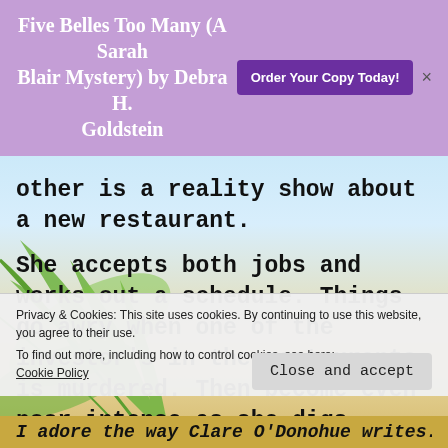Five Belles Too Many (A Sarah Blair Mystery) by Debra H. Goldstein  Order Your Copy Today!
other is a reality show about a new restaurant.
She accepts both jobs and works out a schedule. Things go awry when one of the investor's in the restaurants is murdered. Then become even poor intense as she digs
Privacy & Cookies: This site uses cookies. By continuing to use this website, you agree to their use.
To find out more, including how to control cookies, see here:
Cookie Policy
Close and accept
I adore the way Clare O'Donohue writes.